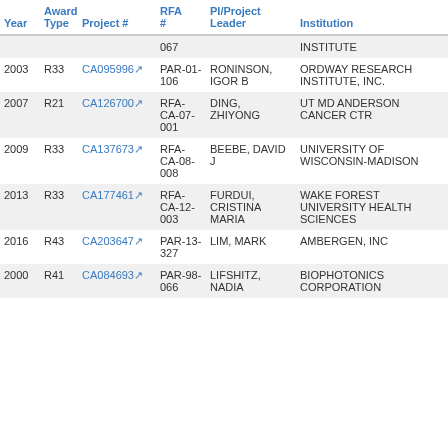| Year | Award Type | Project # | RFA # | PI/Project Leader | Institution |
| --- | --- | --- | --- | --- | --- |
|  |  |  | 067 |  | INSTITUTE |
| 2003 | R33 | CA095996 | PAR-01-106 | RONINSON, IGOR B | ORDWAY RESEARCH INSTITUTE, INC. |
| 2007 | R21 | CA126700 | RFA-CA-07-001 | DING, ZHIYONG | UT MD ANDERSON CANCER CTR |
| 2009 | R33 | CA137673 | RFA-CA-08-008 | BEEBE, DAVID J | UNIVERSITY OF WISCONSIN-MADISON |
| 2013 | R33 | CA177461 | RFA-CA-12-003 | FURDUI, CRISTINA MARIA | WAKE FOREST UNIVERSITY HEALTH SCIENCES |
| 2016 | R43 | CA203647 | PAR-13-327 | LIM, MARK | AMBERGEN, INC |
| 2000 | R41 | CA084693 | PAR-98-066 | LIFSHITZ, NADIA | BIOPHOTONICS CORPORATION |